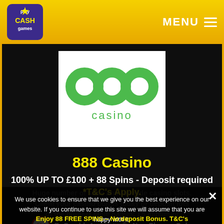Play Cash Games — MENU
[Figure (logo): 888 casino logo — three green circles forming '888' with 'casino' text below, on white background]
888 Casino
100% UP TO £100 + 88 Spins - Deposit required *T&C's Apply.
18+ BeGambleAware.org® New Players Only.
We use cookies to ensure that we give you the best experience on our website. If you continue to use this site we will assume that you are happy with it.
Ok   Privacy policy
Enjoy 88 FREE SPINS – No deposit Bonus. T&C's